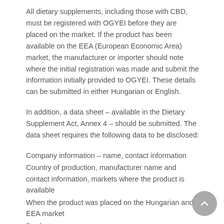All dietary supplements, including those with CBD, must be registered with OGYEI before they are placed on the market. If the product has been available on the EEA (European Economic Area) market, the manufacturer or importer should note where the initial registration was made and submit the information initially provided to OGYEI. These details can be submitted in either Hungarian or English.
In addition, a data sheet – available in the Dietary Supplement Act, Annex 4 – should be submitted. The data sheet requires the following data to be disclosed:
Company information – name, contact information
Country of production, manufacturer name and contact information, markets where the product is available
When the product was placed on the Hungarian and EEA market
Product name
Product classification
Composition, presented in descending order
Sensory attributes (colour, taste, fragrance, shape etc)
Packaging, quantity